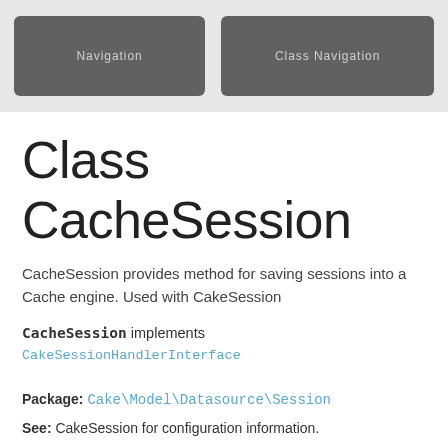Navigation | Class Navigation
Class CacheSession
CacheSession provides method for saving sessions into a Cache engine. Used with CakeSession
CacheSession implements CakeSessionHandlerInterface
Package: Cake\Model\Datasource\Session
See: CakeSession for configuration information.
Copyright: Copyright 2005-2012, Cake Software